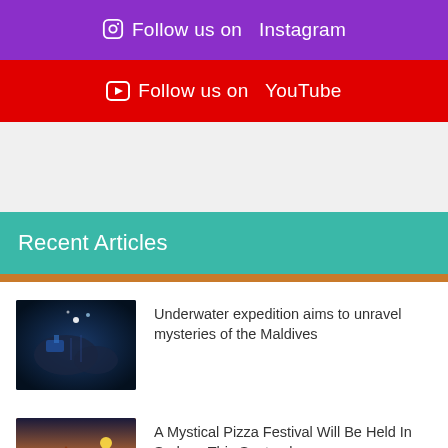Follow us on Instagram
Follow us on YouTube
Recent Articles
Underwater expedition aims to unravel mysteries of the Maldives
A Mystical Pizza Festival Will Be Held In Sedona This September
5 Unique Things to Do in Atlanta